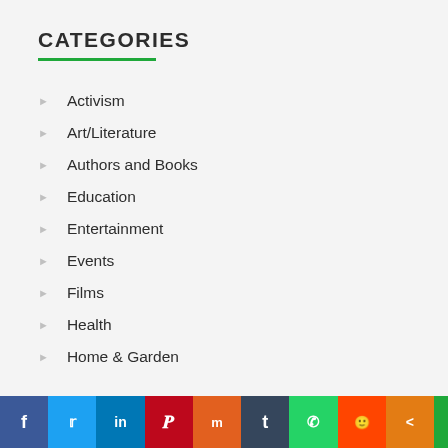CATEGORIES
Activism
Art/Literature
Authors and Books
Education
Entertainment
Events
Films
Health
Home & Garden